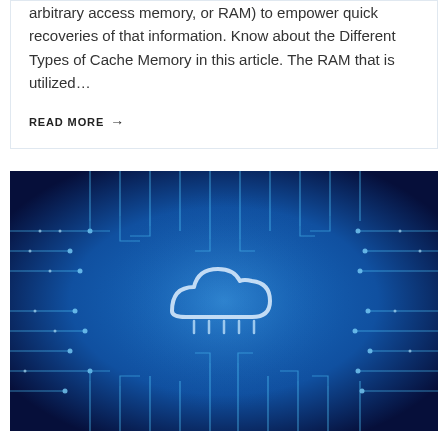arbitrary access memory, or RAM) to empower quick recoveries of that information. Know about the Different Types of Cache Memory in this article. The RAM that is utilized…
READ MORE →
[Figure (photo): Circuit board with glowing blue traces and a white cloud icon in the center, representing cloud computing on hardware infrastructure]